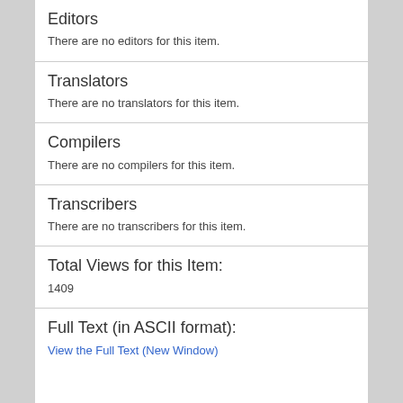Editors
There are no editors for this item.
Translators
There are no translators for this item.
Compilers
There are no compilers for this item.
Transcribers
There are no transcribers for this item.
Total Views for this Item:
1409
Full Text (in ASCII format):
View the Full Text (New Window)